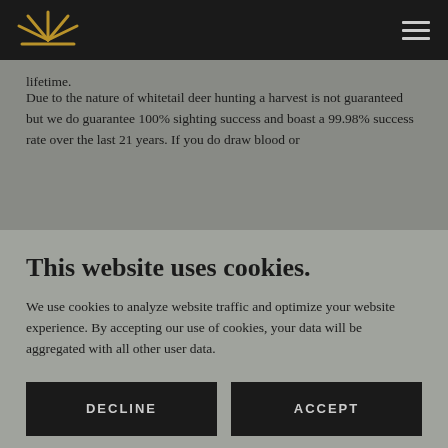Navigation bar with logo and hamburger menu
lifetime.
Due to the nature of whitetail deer hunting a harvest is not guaranteed but we do guarantee 100% sighting success and boast a 99.98% success rate over the last 21 years. If you do draw blood or
This website uses cookies.
We use cookies to analyze website traffic and optimize your website experience. By accepting our use of cookies, your data will be aggregated with all other user data.
DECLINE
ACCEPT